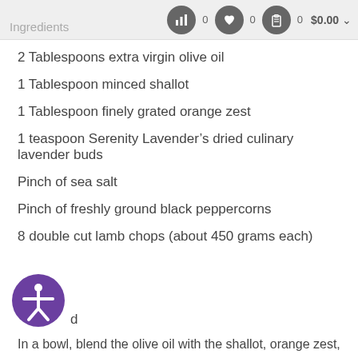0  0  0  $0.00
Ingredients
2 Tablespoons extra virgin olive oil
1 Tablespoon minced shallot
1 Tablespoon finely grated orange zest
1 teaspoon Serenity Lavender’s dried culinary lavender buds
Pinch of sea salt
Pinch of freshly ground black peppercorns
8 double cut lamb chops (about 450 grams each)
Method
In a bowl, blend the olive oil with the shallot, orange zest,